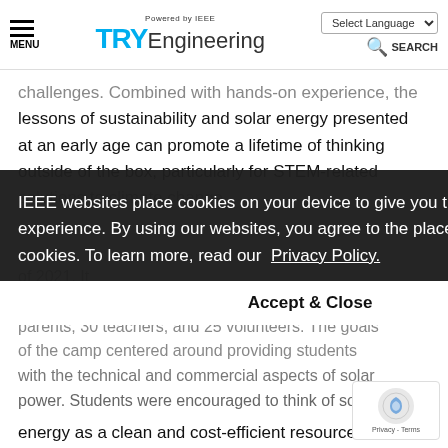TRYEngineering — Powered by IEEE
challenges. Combined with hands-on experience, the lessons of sustainability and solar energy presented at an early age can promote a lifetime of thinking outside of the box, particularly for STEM-related solutions to climate change.
IEEE websites place cookies on your device to give you the best user experience. By using our websites, you agree to the placement of these cookies. To learn more, read our Privacy Policy.
Accept & Close
of 2021. It students, 50 parents, 30 teachers, and 25 volunteers. The goals of the camp centered around providing students with the technical and commercial aspects of solar power. Students were encouraged to think of solar energy as a clean and cost-efficient resource. The learned the design, build, and operation of solar